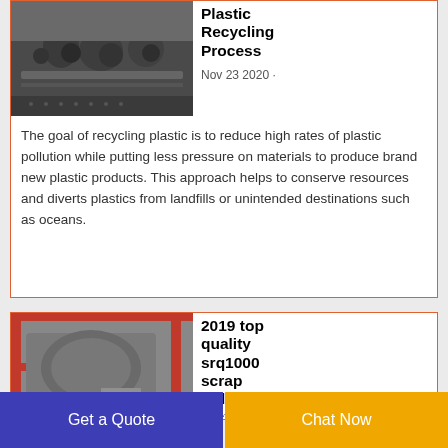[Figure (photo): Industrial plastic recycling machinery, dark metallic equipment]
Plastic Recycling Process
Nov 23 2020 ·
The goal of recycling plastic is to reduce high rates of plastic pollution while putting less pressure on materials to produce brand new plastic products. This approach helps to conserve resources and diverts plastics from landfills or unintended destinations such as oceans.
[Figure (photo): Industrial scrap radiator recycling machine srq1000, green/grey equipment with red scaffolding]
2019 top quality srq1000 scrap radiator recycling
Get a Quote
Chat Now